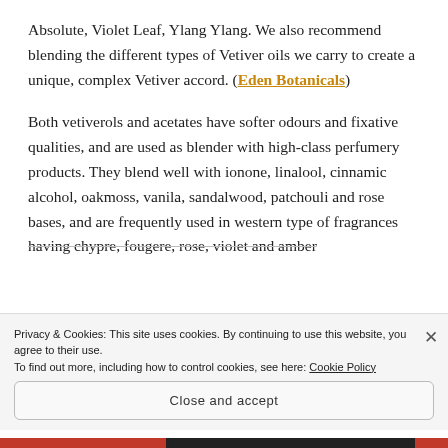Absolute, Violet Leaf, Ylang Ylang.  We also recommend blending the different types of Vetiver oils we carry to create a unique, complex Vetiver accord. (Eden Botanicals)
Both vetiverols and acetates have softer odours and fixative qualities, and are used as blender with high-class perfumery products. They blend well with ionone, linalool, cinnamic alcohol, oakmoss, vanila, sandalwood, patchouli and rose bases, and are frequently used in western type of fragrances having chypre, fougere, rose, violet and amber
Privacy & Cookies: This site uses cookies. By continuing to use this website, you agree to their use.
To find out more, including how to control cookies, see here: Cookie Policy
Close and accept